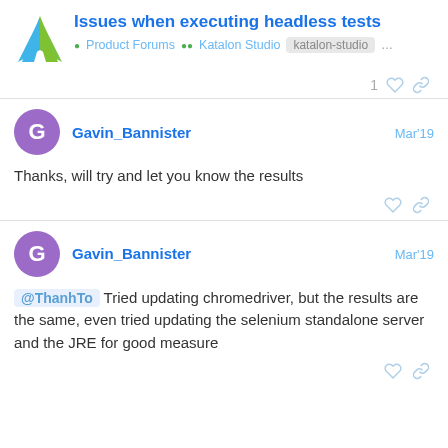Issues when executing headless tests
Product Forums • Katalon Studio • katalon-studio ...
1 ♡ 🔗
Gavin_Bannister Mar'19
Thanks, will try and let you know the results
Gavin_Bannister Mar'19
@ThanhTo Tried updating chromedriver, but the results are the same, even tried updating the selenium standalone server and the JRE for good measure